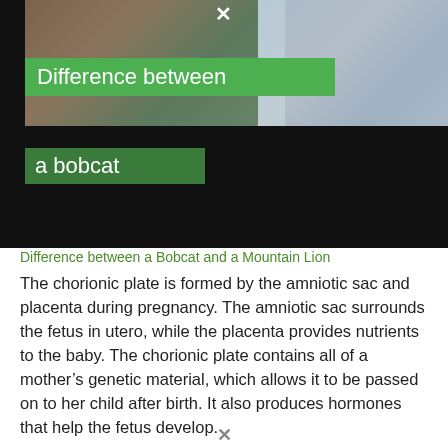[Figure (photo): Screenshot of a webpage with a thumbnail image showing bobcats/mountain lions, with green overlay banners reading 'Difference between' and 'a bobcat' on a dark background, and a close (X) button at the top.]
Difference between a Bobcat and a Mountain Lion
The chorionic plate is formed by the amniotic sac and placenta during pregnancy. The amniotic sac surrounds the fetus in utero, while the placenta provides nutrients to the baby. The chorionic plate contains all of a mother’s genetic material, which allows it to be passed on to her child after birth. It also produces hormones that help the fetus develop.

But what is amnion? Is it not the same as chorion? What are the differences between them? To answer